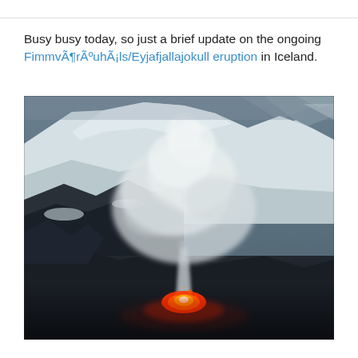Busy busy today, so just a brief update on the ongoing FimmvÃ¶rÃºuhÃ¡ls/Eyjafjallajokull eruption in Iceland.
[Figure (photo): Aerial photograph of the Eyjafjallajokull volcanic eruption in Iceland, showing glowing red lava and white smoke/steam rising from the eruption vent, with snow-covered mountain slopes in the background and dark rocky terrain in the foreground.]